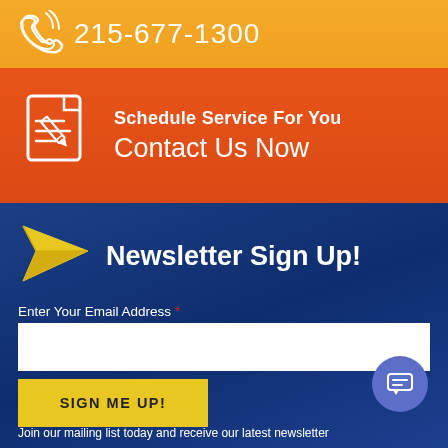[Figure (infographic): Orange banner with phone icon and phone number 215-677-1300]
215-677-1300
[Figure (infographic): Red-orange banner with document/schedule icon]
Schedule Service For You
Contact Us Now
Newsletter Sign Up!
Enter Your Email Address *
SIGN ME UP!
Join our mailing list today and receive our latest newsletter